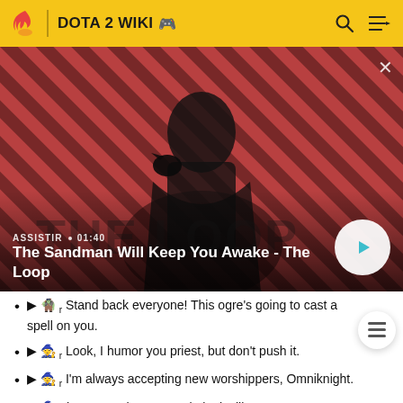DOTA 2 WIKI
[Figure (screenshot): Video thumbnail showing The Sandman character with a raven on shoulder, against a red/dark diagonal striped background. Text overlay: ASSISTIR • 01:40 / The Sandman Will Keep You Awake - The Loop. Play button visible on right.]
▶ [ogre icon] r Stand back everyone! This ogre's going to cast a spell on you.
▶ [priest icon] r Look, I humor you priest, but don't push it.
▶ [priest icon] r I'm always accepting new worshippers, Omniknight.
▶ [icon] That's not what an oracle looks like!